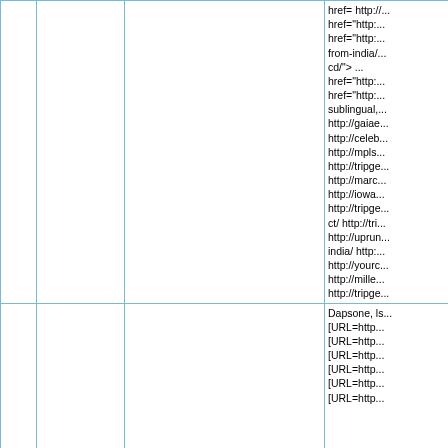|  |  |  | href= http://... href="http:... href="http:... from-india/... cd/"></a> ... href="http:... href="http:... sublingual,... http://gaiae... http://celeb... http://mpls... http://tripge... http://marc... http://iowa... http://tripge... ct/ http://tri... http://upru... india/ http:... http://yourc... http://mille... http://tripge... |
|  |  |  | Dapsone, ls... [URL=http... [URL=http... [URL=http... [URL=http... [URL=http... [URL=http... |